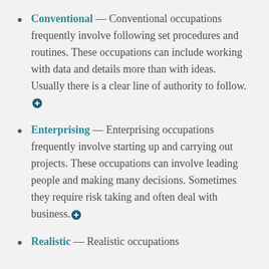Conventional — Conventional occupations frequently involve following set procedures and routines. These occupations can include working with data and details more than with ideas. Usually there is a clear line of authority to follow.
Enterprising — Enterprising occupations frequently involve starting up and carrying out projects. These occupations can involve leading people and making many decisions. Sometimes they require risk taking and often deal with business.
Realistic — Realistic occupations...